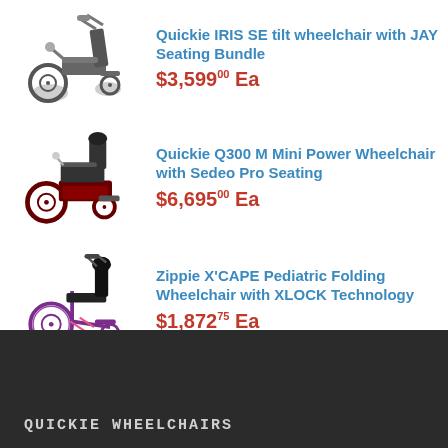[Figure (photo): Quickie IRIS SE tilt wheelchair with JAY Seating Bundle product photo]
Quickie IRIS SE tilt wheelchair with JAY Seating Bundle $3,59900 Ea
[Figure (photo): Quickie Q300 M Mini Power Wheelchair with Sedeo Pro Seating product photo]
Quickie Q300 M Mini Power Wheelchair with Sedeo Pro Seating $6,69500 Ea
[Figure (photo): Zippie X'CAPE Pediatric Folding Wheelchair with XLOCK Technology product photo]
Zippie X'CAPE Pediatric Folding Wheelchair with XLOCK Technology $1,87275 Ea
QUICKIE WHEELCHAIRS